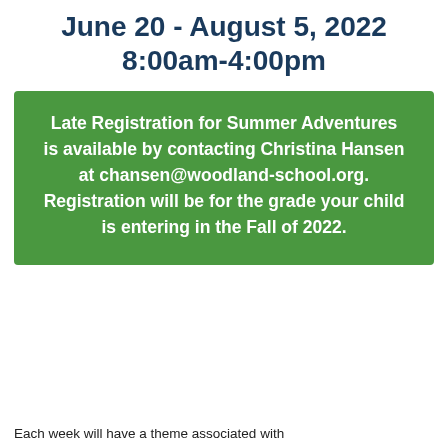June 20 - August 5, 2022
8:00am-4:00pm
Late Registration for Summer Adventures is available by contacting Christina Hansen at chansen@woodland-school.org. Registration will be for the grade your child is entering in the Fall of 2022.
Each week will have a theme associated with